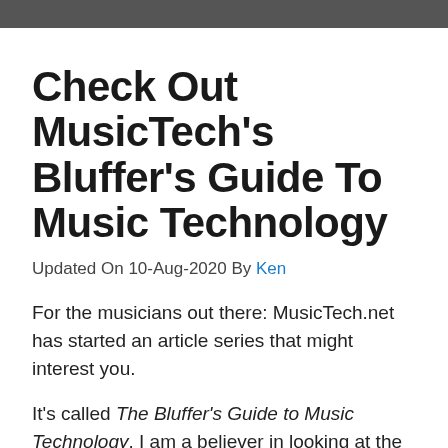Check Out MusicTech's Bluffer's Guide To Music Technology
Updated On 10-Aug-2020 By Ken
For the musicians out there: MusicTech.net has started an article series that might interest you.
It's called The Bluffer's Guide to Music Technology. I am a believer in looking at the same basic concepts from multiple points of view, and the Bluffer's Guide